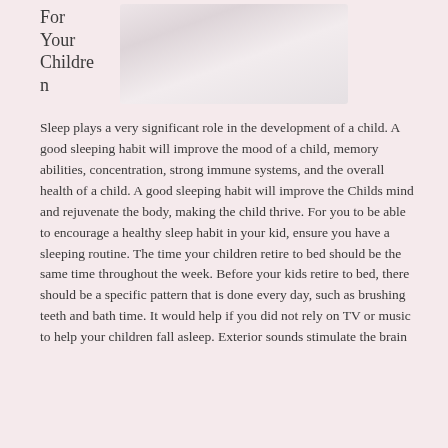For Your Children
[Figure (photo): A soft, light-colored photo, likely of a sleeping child or pillow, with pale pink and white tones.]
Sleep plays a very significant role in the development of a child. A good sleeping habit will improve the mood of a child, memory abilities, concentration, strong immune systems, and the overall health of a child. A good sleeping habit will improve the Childs mind and rejuvenate the body, making the child thrive. For you to be able to encourage a healthy sleep habit in your kid, ensure you have a sleeping routine. The time your children retire to bed should be the same time throughout the week. Before your kids retire to bed, there should be a specific pattern that is done every day, such as brushing teeth and bath time. It would help if you did not rely on TV or music to help your children fall asleep. Exterior sounds stimulate the brain